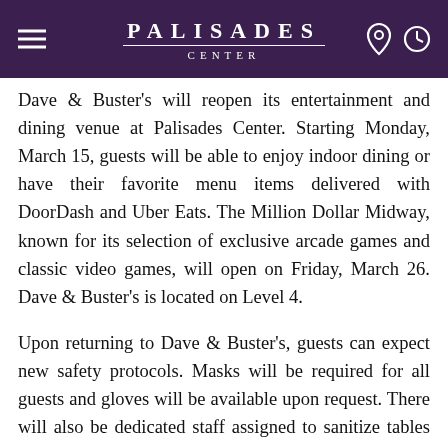PALISADES CENTER
Dave & Buster's will reopen its entertainment and dining venue at Palisades Center. Starting Monday, March 15, guests will be able to enjoy indoor dining or have their favorite menu items delivered with DoorDash and Uber Eats. The Million Dollar Midway, known for its selection of exclusive arcade games and classic video games, will open on Friday, March 26. Dave & Buster's is located on Level 4.
Upon returning to Dave & Buster's, guests can expect new safety protocols. Masks will be required for all guests and gloves will be available upon request. There will also be dedicated staff assigned to sanitize tables and games regularly as well as many other important health, sanitization, and cleanliness